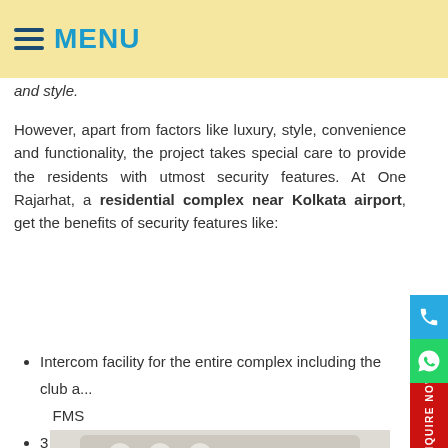MENU
and style.
However, apart from factors like luxury, style, convenience and functionality, the project takes special care to provide the residents with utmost security features. At One Rajarhat, a residential complex near Kolkata airport, get the benefits of security features like:
Intercom facility for the entire complex including the club a... FMS
3 tier security
CCTV at the main gate
Smart card access system
[Figure (photo): Close-up photo of a grey intercom/telephone keypad device with keys 1, 2, 4 visible and a small green LED display, branded Cy...]